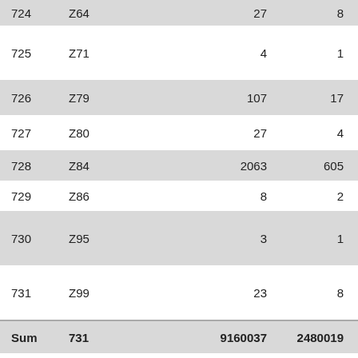|  |  |  |  |  |
| --- | --- | --- | --- | --- |
| 724 | Z64 |  | 27 | 8 | 3.38 |
| 725 | Z71 |  | 4 | 1 | 4.00 |
| 726 | Z79 |  | 107 | 17 | 6.29 |
| 727 | Z80 |  | 27 | 4 | 6.75 |
| 728 | Z84 |  | 2063 | 605 | 3.41 |
| 729 | Z86 |  | 8 | 2 | 4.00 |
| 730 | Z95 |  | 3 | 1 | 3.00 |
| 731 | Z99 |  | 23 | 8 | 2.88 |
| Sum | 731 |  | 9160037 | 2480019 | 3.69 |